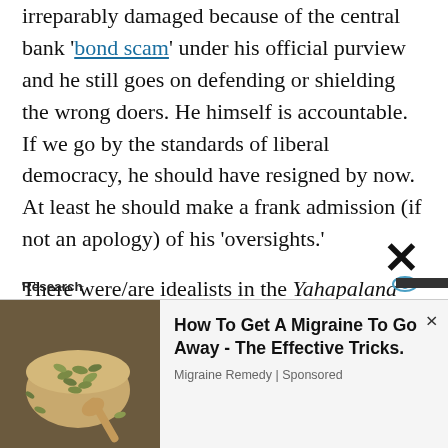irreparably damaged because of the central bank 'bond scam' under his official purview and he still goes on defending or shielding the wrong doers. He himself is accountable. If we go by the standards of liberal democracy, he should have resigned by now. At least he should make a frank admission (if not an apology) of his 'oversights.'
There were/are idealists in the Yahapalana camp, particularly among the civil society groups, who were accusing Sirisena for taking over the leadership of the SLFP and not playing the 'lame duck' role (The Economist
Research
[Figure (photo): Advertisement image showing a bowl of pumpkin seeds with a wooden spoon on a rustic background]
How To Get A Migraine To Go Away - The Effective Tricks. Migraine Remedy | Sponsored